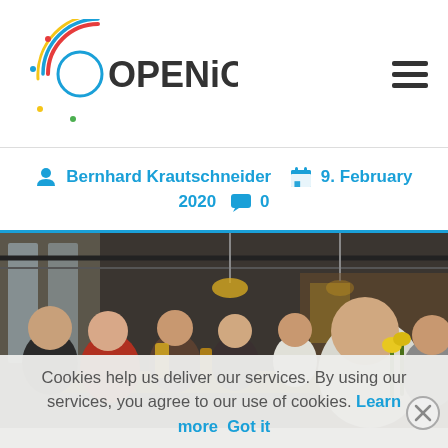OpenIoT
Bernhard Krautschneider  9. February 2020  0
[Figure (photo): Group of people sitting around a long bar/restaurant table, smiling at camera, indoor restaurant setting with industrial-style ceiling]
Cookies help us deliver our services. By using our services, you agree to our use of cookies. Learn more  Got it